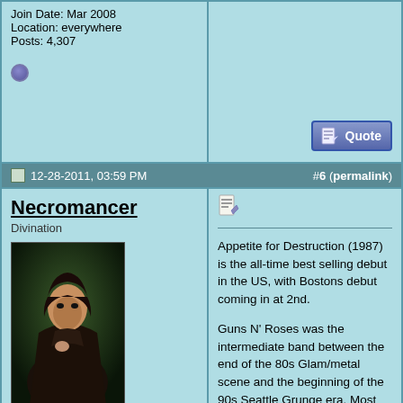Join Date: Mar 2008
Location: everywhere
Posts: 4,307
12-28-2011, 03:59 PM  #6 (permalink)
Necromancer
Divination
[Figure (illustration): Dark fantasy avatar of a cloaked figure with dark hair against a green/dark background]
Join Date: Oct 2007
Posts: 2,623
Appetite for Destruction (1987) is the all-time best selling debut in the US, with Bostons debut coming in at 2nd.

Guns N' Roses was the intermediate band between the end of the 80s Glam/metal scene and the beginning of the 90s Seattle Grunge era. Most music critics will agree with this assumption.

I personally always thought that the (1991) release of Skid Rows "Slave To The Grind" is another intermediate Rock/Metal band and album, that falls between the 80s Glam and 90s Grunge eras as well.